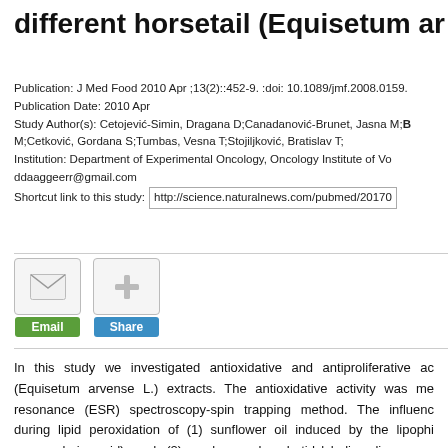different horsetail (Equisetum ar…
Publication: J Med Food 2010 Apr ;13(2)::452-9. :doi: 10.1089/jmf.2008.0159.
Publication Date: 2010 Apr
Study Author(s): Cetojević-Simin, Dragana D;Canadanović-Brunet, Jasna M;B M;Cetković, Gordana S;Tumbas, Vesna T;Stojiljković, Bratislav T;
Institution: Department of Experimental Oncology, Oncology Institute of Vo ddaaggeerr@gmail.com
Shortcut link to this study: http://science.naturalnews.com/pubmed/20170…
[Figure (other): Email and Share buttons with icon widgets]
In this study we investigated antioxidative and antiproliferative ac… (Equisetum arvense L.) extracts. The antioxidative activity was me… resonance (ESR) spectroscopy-spin trapping method. The influenc… during lipid peroxidation of (1) sunflower oil induced by the lipophi… cyanovaleric acid) and (2) soybean phosphatidylcholine liposomes initiator 2,2'-azobis(2-amidinopropane) dihydrochloride was studie… measured using the sulforhodamine B colorimetric assay on the b…